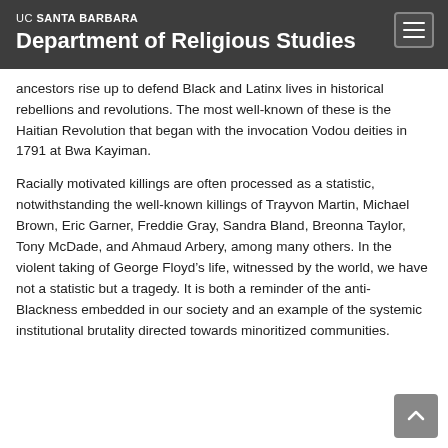UC SANTA BARBARA Department of Religious Studies
ancestors rise up to defend Black and Latinx lives in historical rebellions and revolutions. The most well-known of these is the Haitian Revolution that began with the invocation Vodou deities in 1791 at Bwa Kayiman.
Racially motivated killings are often processed as a statistic, notwithstanding the well-known killings of Trayvon Martin, Michael Brown, Eric Garner, Freddie Gray, Sandra Bland, Breonna Taylor, Tony McDade, and Ahmaud Arbery, among many others. In the violent taking of George Floyd’s life, witnessed by the world, we have not a statistic but a tragedy. It is both a reminder of the anti-Blackness embedded in our society and an example of the systemic institutional brutality directed towards minoritized communities.